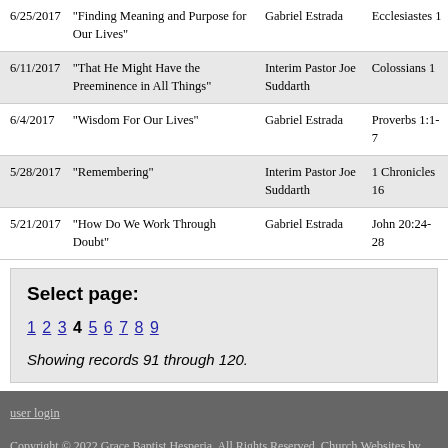| Date | Title | Speaker | Scripture |
| --- | --- | --- | --- |
| 6/25/2017 | "Finding Meaning and Purpose for Our Lives" | Gabriel Estrada | Ecclesiastes 1 |
| 6/11/2017 | "That He Might Have the Preeminence in All Things" | Interim Pastor Joe Suddarth | Colossians 1 |
| 6/4/2017 | "Wisdom For Our Lives" | Gabriel Estrada | Proverbs 1:1-7 |
| 5/28/2017 | "Remembering" | Interim Pastor Joe Suddarth | 1 Chronicles 16 |
| 5/21/2017 | "How Do We Work Through Doubt" | Gabriel Estrada | John 20:24-28 |
Select page: 1 2 3 4 5 6 7 8 9 — Showing records 91 through 120.
user login
Copyright © 2022 Grace Baptist Hesperia. All Rights Reserved. Church Websites by Finalweb.